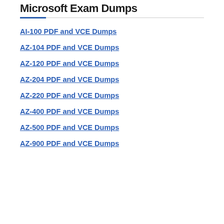Microsoft Exam Dumps
AI-100 PDF and VCE Dumps
AZ-104 PDF and VCE Dumps
AZ-120 PDF and VCE Dumps
AZ-204 PDF and VCE Dumps
AZ-220 PDF and VCE Dumps
AZ-400 PDF and VCE Dumps
AZ-500 PDF and VCE Dumps
AZ-900 PDF and VCE Dumps